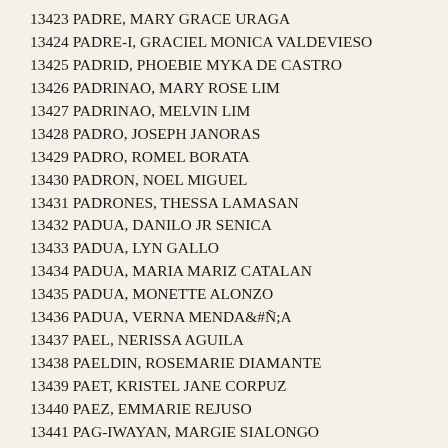13423 PADRE, MARY GRACE URAGA
13424 PADRE-I, GRACIEL MONICA VALDEVIESO
13425 PADRID, PHOEBIE MYKA DE CASTRO
13426 PADRINAO, MARY ROSE LIM
13427 PADRINAO, MELVIN LIM
13428 PADRO, JOSEPH JANORAS
13429 PADRO, ROMEL BORATA
13430 PADRON, NOEL MIGUEL
13431 PADRONES, THESSA LAMASAN
13432 PADUA, DANILO JR SENICA
13433 PADUA, LYN GALLO
13434 PADUA, MARIA MARIZ CATALAN
13435 PADUA, MONETTE ALONZO
13436 PADUA, VERNA MENDAÑA
13437 PAEL, NERISSA AGUILA
13438 PAELDIN, ROSEMARIE DIAMANTE
13439 PAET, KRISTEL JANE CORPUZ
13440 PAEZ, EMMARIE REJUSO
13441 PAG-IWAYAN, MARGIE SIALONGO
13442 PAGADUAN, GLAIZA TARNATE
13443 PAGAL, NORLAN JR MANCAO
13444 PAGALILAHAN, LANIE ABATTAD